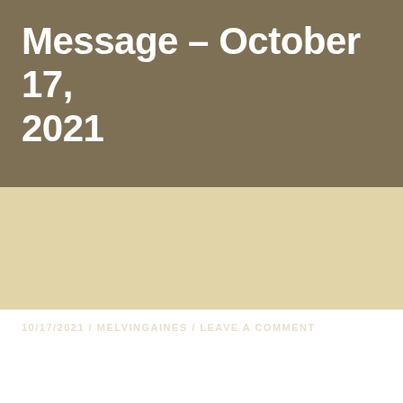Message – October 17, 2021
[Figure (other): Blank beige/cream colored banner area]
10/17/2021 / MELVINGAINES / LEAVE A COMMENT
Run to Jesus as You Run for Jesus